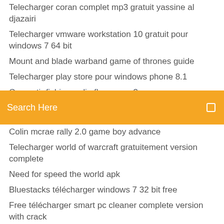Telecharger coran complet mp3 gratuit yassine al djazairi
Telecharger vmware workstation 10 gratuit pour windows 7 64 bit
Mount and blade warband game of thrones guide
Telecharger play store pour windows phone 8.1
Convertir fichier audio flac en mp3
Pdf merge and split exe
[Figure (screenshot): Orange search bar with text 'Search Here' and a small icon on the right]
Colin mcrae rally 2.0 game boy advance
Telecharger world of warcraft gratuitement version complete
Need for speed the world apk
Bluestacks télécharger windows 7 32 bit free
Free télécharger smart pc cleaner complete version with crack
Fond décran hd twilight
Convertir un document word en pdf modifiable
Descargar dragon naturallyspeaking 13 español gratis